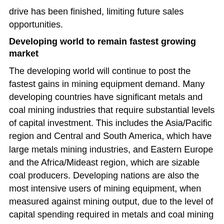drive has been finished, limiting future sales opportunities.
Developing world to remain fastest growing market
The developing world will continue to post the fastest gains in mining equipment demand. Many developing countries have significant metals and coal mining industries that require substantial levels of capital investment. This includes the Asia/Pacific region and Central and South America, which have large metals mining industries, and Eastern Europe and the Africa/Mideast region, which are sizable coal producers. Developing nations are also the most intensive users of mining equipment, when measured against mining output, due to the level of capital spending required in metals and coal mining operations. After more than tripling in size between 2009 and 2014, China will remain the The developing world will continue to post the fastest gains in mining equipment demand. Many developing countries have significant metals and coal mining industries that require substantial levels of capital investment. This includes the Asia/Pacific region and Central and South America, which have large metals mining industries, and Eastern Europe